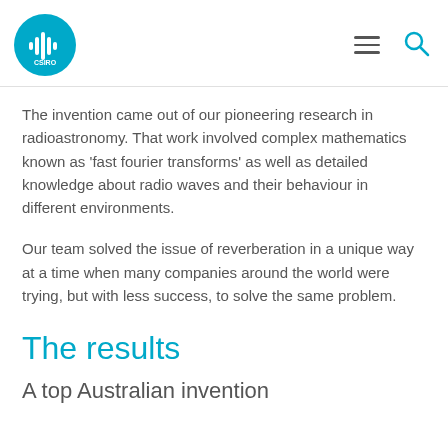CSIRO logo with hamburger menu and search icon
The invention came out of our pioneering research in radioastronomy. That work involved complex mathematics known as 'fast fourier transforms' as well as detailed knowledge about radio waves and their behaviour in different environments.
Our team solved the issue of reverberation in a unique way at a time when many companies around the world were trying, but with less success, to solve the same problem.
The results
A top Australian invention